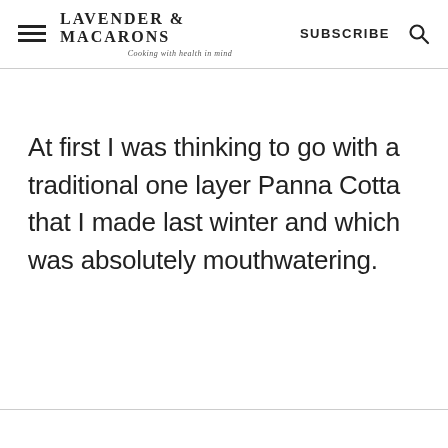LAVENDER & MACARONS — Cooking with health in mind | SUBSCRIBE
At first I was thinking to go with a traditional one layer Panna Cotta that I made last winter and which was absolutely mouthwatering.